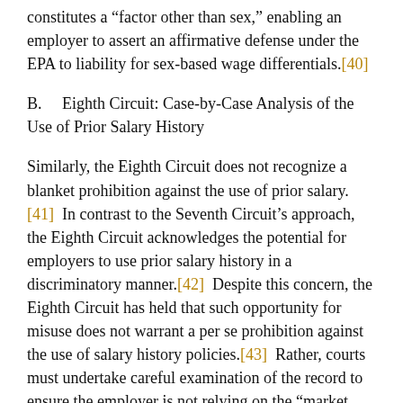constitutes a “factor other than sex,” enabling an employer to assert an affirmative defense under the EPA to liability for sex-based wage differentials.[40]
B.    Eighth Circuit: Case-by-Case Analysis of the Use of Prior Salary History
Similarly, the Eighth Circuit does not recognize a blanket prohibition against the use of prior salary. [41]  In contrast to the Seventh Circuit’s approach, the Eighth Circuit acknowledges the potential for employers to use prior salary history in a discriminatory manner.[42]  Despite this concern, the Eighth Circuit has held that such opportunity for misuse does not warrant a per se prohibition against the use of salary history policies.[43]  Rather, courts must undertake careful examination of the record to ensure the employer is not relying on the “market forces” theory “to justify lower wages for female